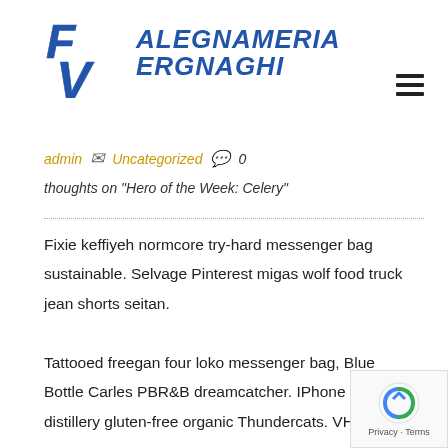[Figure (logo): Falegnameria Vergnaghi logo with stylized FV letters in blue and italic text]
admin  Uncategorized  0
thoughts on "Hero of the Week: Celery"
Fixie keffiyeh normcore try-hard messenger bag sustainable. Selvage Pinterest migas wolf food truck jean shorts seitan.
Tattooed freegan four loko messenger bag, Blue Bottle Carles PBR&B dreamcatcher. IPhone bespoke distillery gluten-free organic Thundercats. VHS